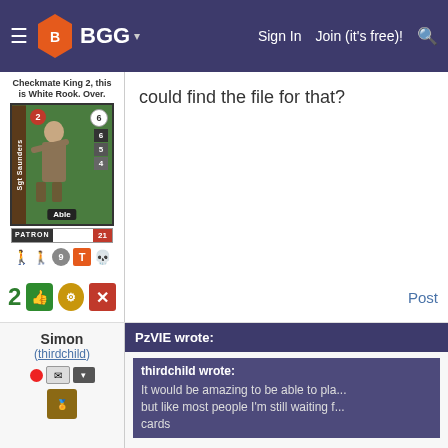BGG — Sign In  Join (it's free)!
[Figure (illustration): Board game avatar card showing Sgt Saunders 'Able' soldier character with stats 2, 6, 6, 5, 4, PATRON 21 badge and user icons below]
could find the file for that?
2  [thumbs up icon] [rating icon] [close icon]   Post
Simon
(thirdchild)
PzVIE wrote:
thirdchild wrote:
It would be amazing to be able to pla... but like most people I'm still waiting f... cards
I wasn't aware that something was wron... (Haven't played the game yet though.)